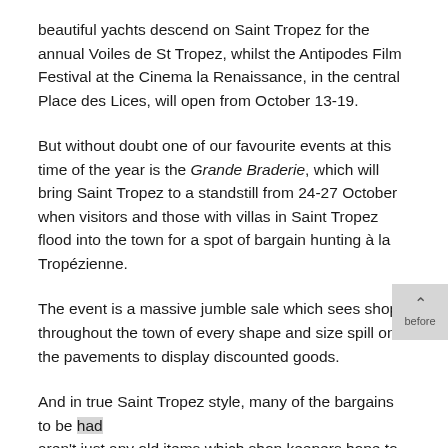beautiful yachts descend on Saint Tropez for the annual Voiles de St Tropez, whilst the Antipodes Film Festival at the Cinema la Renaissance, in the central Place des Lices, will open from October 13-19.
But without doubt one of our favourite events at this time of the year is the Grande Braderie, which will bring Saint Tropez to a standstill from 24-27 October when visitors and those with villas in Saint Tropez flood into the town for a spot of bargain hunting à la Tropézienne.
The event is a massive jumble sale which sees shops throughout the town of every shape and size spill onto the pavements to display discounted goods.
And in true Saint Tropez style, many of the bargains to be had aren't just any old items which shop keepers hope to flog before new stock comes in. Many high-end labels including Versace and Prada take part in the Grande Braderie meaning that there are